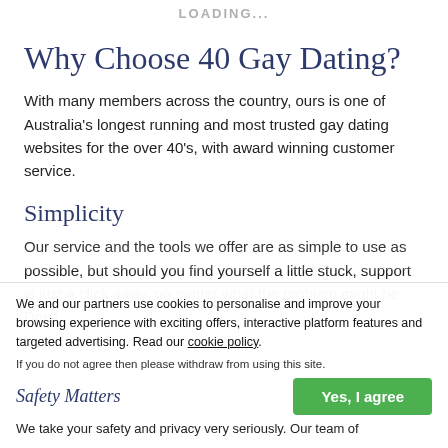LOADING...
Why Choose 40 Gay Dating?
With many members across the country, ours is one of Australia's longest running and most trusted gay dating websites for the over 40's, with award winning customer service.
Simplicity
Our service and the tools we offer are as simple to use as possible, but should you find yourself a little stuck, support is just a click away, no matter what the problem might be. Don't
Safety Matters
We take your safety and privacy very seriously. Our team of
We and our partners use cookies to personalise and improve your browsing experience with exciting offers, interactive platform features and targeted advertising. Read our cookie policy.
If you do not agree then please withdraw from using this site.